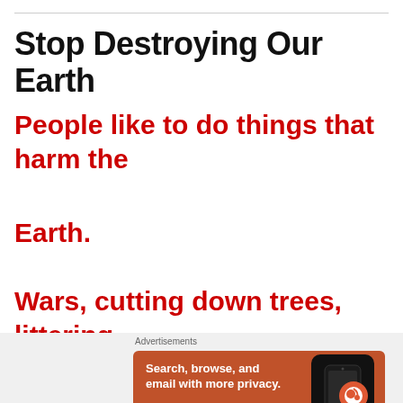Stop Destroying Our Earth
People like to do things that harm the Earth.
Wars, cutting down trees, littering,
polluting and forest fire are some of
Advertisements
[Figure (screenshot): DuckDuckGo advertisement banner: orange background with text 'Search, browse, and email with more privacy. All in One Free App' and DuckDuckGo logo on a phone mockup]